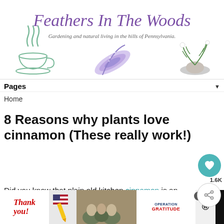[Figure (logo): Feathers In The Woods blog header with cursive purple title, subtitle 'Gardening and natural living in the hills of Pennsylvania.', a teacup with steam on left, a purple feather in center, and a fern/stones on right]
Pages
Home
8 Reasons why plants love cinnamon (These really work!)
Did you know that plain old kitchen cinnamon is an amazing fungicide? Not only that, but cinnamon can be used in the garden so many different ways. I've discovered 8 different ways to use cinnamon for plants, and I'll share them all here. Some of these cinnamon
[Figure (photo): Advertisement banner at bottom: Thank you text with American flag pen, soldiers photo, Operation Gratitude logo, close button, and dark background elements]